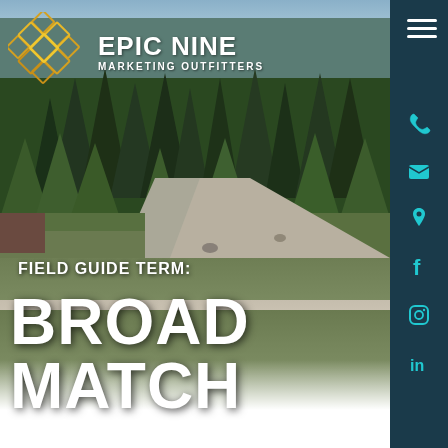[Figure (photo): Mountain trail forking through evergreen forest with gravel path winding into the distance, sky visible above treeline]
[Figure (logo): Epic Nine Marketing Outfitters logo: diamond lattice pattern in gold/orange with white text]
FIELD GUIDE TERM:
BROAD MATCH
[Figure (infographic): Dark teal right sidebar with hamburger menu icon at top and social/contact icons (phone, email, location, Facebook, Instagram, LinkedIn) in teal color]